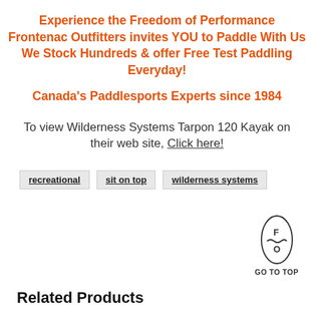Experience the Freedom of Performance
Frontenac Outfitters invites YOU to Paddle With Us
We Stock Hundreds & offer Free Test Paddling Everyday!
Canada's Paddlesports Experts since 1984
To view Wilderness Systems Tarpon 120 Kayak on their web site, Click here!
recreational
sit on top
wilderness systems
[Figure (logo): Frontenac Outfitters logo: oval/eye shape with F over O and a wavy line, with GO TO TOP text below]
Related Products